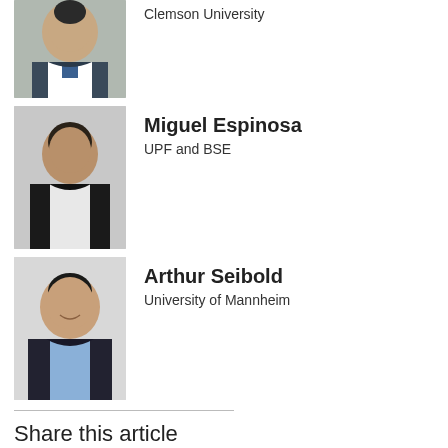[Figure (photo): Partial view of first author's photo (top portion, head and shoulders of person in suit)]
Clemson University
[Figure (photo): Photo of Miguel Espinosa, man with dark hair in professional attire]
Miguel Espinosa
UPF and BSE
[Figure (photo): Photo of Arthur Seibold, young man smiling in suit with blue shirt]
Arthur Seibold
University of Mannheim
Share this article
Twitter
Facebook
Email
Print